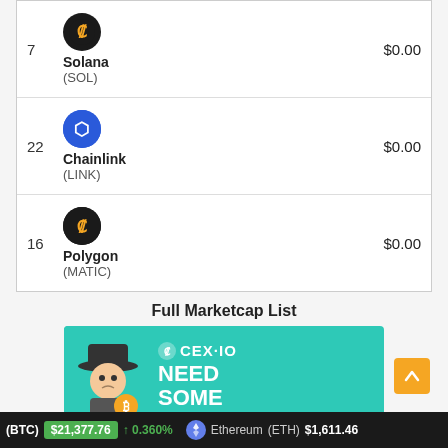| Rank | Coin | Price |
| --- | --- | --- |
| 7 | Solana (SOL) | $0.00 |
| 22 | Chainlink (LINK) | $0.00 |
| 16 | Polygon (MATIC) | $0.00 |
Full Marketcap List
[Figure (illustration): CEX.IO advertisement banner with cartoon character and 'NEED SOME' text on teal background]
(BTC) $21,377.76 ↑ 0.360%   Ethereum (ETH) $1,611.46